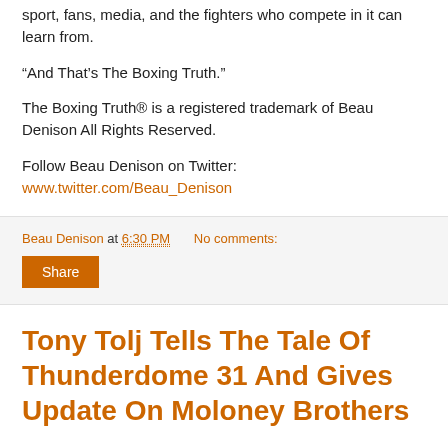sport, fans, media, and the fighters who compete in it can learn from.
“And That’s The Boxing Truth.”
The Boxing Truth® is a registered trademark of Beau Denison All Rights Reserved.
Follow Beau Denison on Twitter:
www.twitter.com/Beau_Denison
Beau Denison at 6:30 PM   No comments:
Share
Tony Tolj Tells The Tale Of Thunderdome 31 And Gives Update On Moloney Brothers